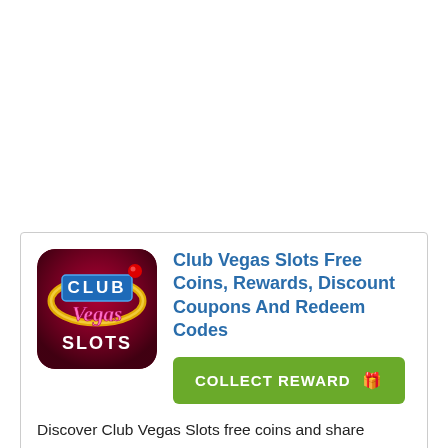[Figure (logo): Club Vegas Slots app icon — dark red/maroon background with golden ring, 'CLUB' in blue block letters, 'Vegas' in pink cursive, 'SLOTS' in white bold text at bottom]
Club Vegas Slots Free Coins, Rewards, Discount Coupons And Redeem Codes
COLLECT REWARD 🎁
Discover Club Vegas Slots free coins and share working credits on facebook, twitter and instagram. Obtain list of recent facebook loyalty points, energy tickets, referral coupons, google play store tips, android hacks, instagram help, bonus reviews, app credits and reviews online promo links. We update free spins, bonus credits